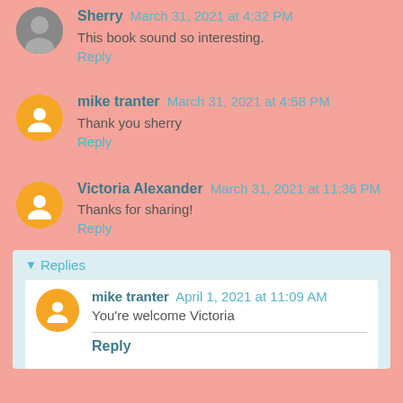Sherry March 31, 2021 at 4:32 PM
This book sound so interesting.
Reply
mike tranter March 31, 2021 at 4:58 PM
Thank you sherry
Reply
Victoria Alexander March 31, 2021 at 11:36 PM
Thanks for sharing!
Reply
Replies
mike tranter April 1, 2021 at 11:09 AM
You're welcome Victoria
Reply